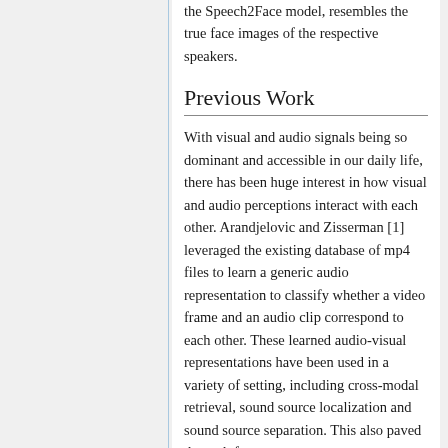the Speech2Face model, resembles the true face images of the respective speakers.
Previous Work
With visual and audio signals being so dominant and accessible in our daily life, there has been huge interest in how visual and audio perceptions interact with each other. Arandjelovic and Zisserman [1] leveraged the existing database of mp4 files to learn a generic audio representation to classify whether a video frame and an audio clip correspond to each other. These learned audio-visual representations have been used in a variety of setting, including cross-modal retrieval, sound source localization and sound source separation. This also paved the path for